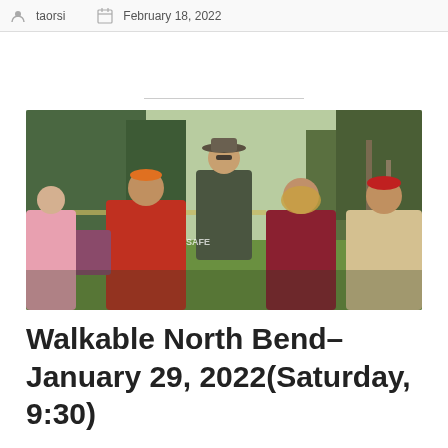taorsi   February 18, 2022
[Figure (photo): Outdoor group gathering: a man in a dark jacket and hat speaks to a group of people in a park or garden setting with trees in the background. Several people visible from behind in winter clothing.]
Walkable North Bend– January 29, 2022(Saturday, 9:30)